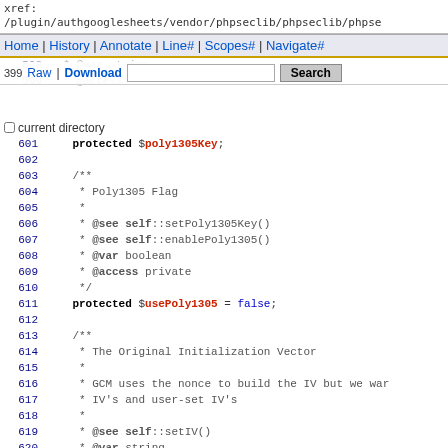xref: /plugin/authgooglesheets/vendor/phpseclib/phpseclib/phpsec...
Home | History | Annotate | Line# | Scopes# | Navigate#
Raw | Download [search box] Search  current directory
598   @var string
599   @access
600 (blank)
601     protected $poly1305Key;
602 (blank)
603     /**
604      * Poly1305 Flag
605      *
606      * @see self::setPoly1305Key()
607      * @see self::enablePoly1305()
608      * @var boolean
609      * @access private
610      */
611     protected $usePoly1305 = false;
612 (blank)
613     /**
614      * The Original Initialization Vector
615      *
616      * GCM uses the nonce to build the IV but we war
617      * IV's and user-set IV's
618      *
619      * @see self::setIV()
620      * @var string
621      * @access private
622      */
623     private $origIV = false;